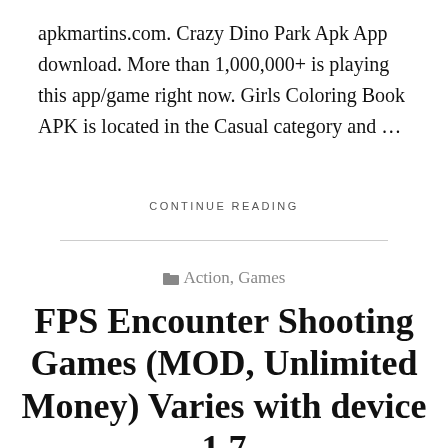apkmartins.com. Crazy Dino Park Apk App download. More than 1,000,000+ is playing this app/game right now. Girls Coloring Book APK is located in the Casual category and …
CONTINUE READING
Action, Games
FPS Encounter Shooting Games (MOD, Unlimited Money) Varies with device 1.7